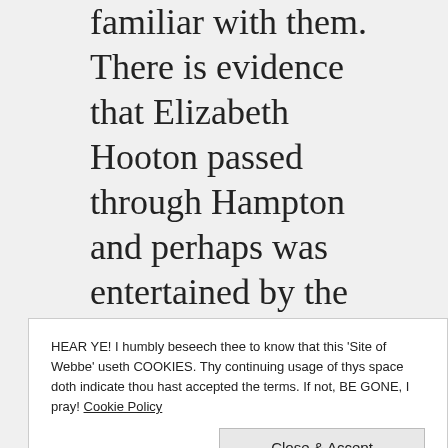familiar with them. There is evidence that Elizabeth Hooton passed through Hampton and perhaps was entertained by the Wardells. They, also, entertained Wenlock Christison on at least two occasions and were
HEAR YE! I humbly beseech thee to know that this 'Site of Webbe' useth COOKIES. Thy continuing usage of thys space doth indicate thou hast accepted the terms. If not, BE GONE, I pray! Cookie Policy
Close & Accept
three vagabond women